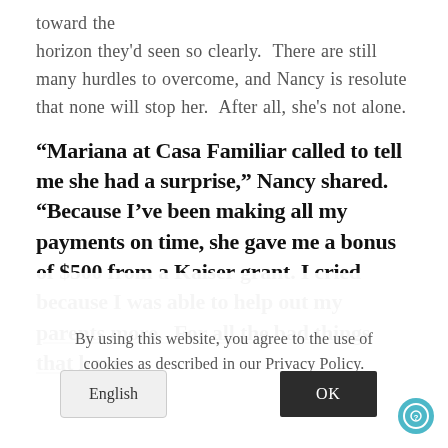toward the horizon they'd seen so clearly. There are still many hurdles to overcome, and Nancy is resolute that none will stop her. After all, she's not alone.
“Mariana at Casa Familiar called to tell me she had a surprise,” Nancy shared. “Because I’ve been making all my payments on time, she gave me a bonus of $500 from a Kaiser grant. I cried because I was able to help out my parents more. For all the bad things that have
By using this website, you agree to the use of cookies as described in our Privacy Policy.